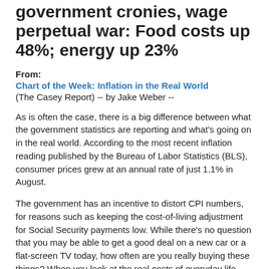government cronies, wage perpetual war: Food costs up 48%; energy up 23%
From:
Chart of the Week: Inflation in the Real World
(The Casey Report) -- by Jake Weber --
As is often the case, there is a big difference between what the government statistics are reporting and what's going on in the real world. According to the most recent inflation reading published by the Bureau of Labor Statistics (BLS), consumer prices grew at an annual rate of just 1.1% in August.
The government has an incentive to distort CPI numbers, for reasons such as keeping the cost-of-living adjustment for Social Security payments low. While there's no question that you may be able to get a good deal on a new car or a flat-screen TV today, how often are you really buying these things? When you look at the real costs of everyday life, prices have risen sharply over the last year. For simplicity's sake, consider the cash market prices on some basic commodities.